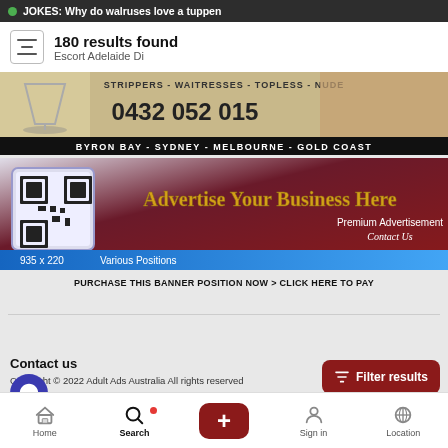JOKES: Why do walruses love a tuppen
180 results found
Escort Adelaide Di
[Figure (photo): Advertisement banner: strippers/waitresses service with phone number 0432 052 015, Byron Bay - Sydney - Melbourne - Gold Coast]
[Figure (photo): Advertise Your Business Here banner with QR code, Premium Advertisement Contact Us, 935 x 220 Various Positions]
PURCHASE THIS BANNER POSITION NOW > CLICK HERE TO PAY
Contact us
Copyright © 2022 Adult Ads Australia All rights reserved
Home   Search   +   Sign in   Location